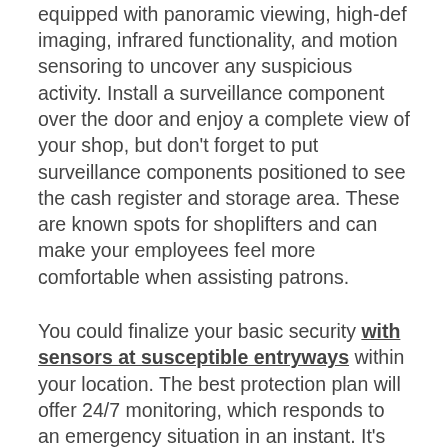observation of your premises. We recommend to choose cameras that come equipped with panoramic viewing, high-def imaging, infrared functionality, and motion sensoring to uncover any suspicious activity. Install a surveillance component over the door and enjoy a complete view of your shop, but don't forget to put surveillance components positioned to see the cash register and storage area. These are known spots for shoplifters and can make your employees feel more comfortable when assisting patrons.
You could finalize your basic security with sensors at susceptible entryways within your location. The best protection plan will offer 24/7 monitoring, which responds to an emergency situation in an instant. It's also wise to invest in a set up that uses a cell phone app, so you have the ability to monitor the store whenever you desire.